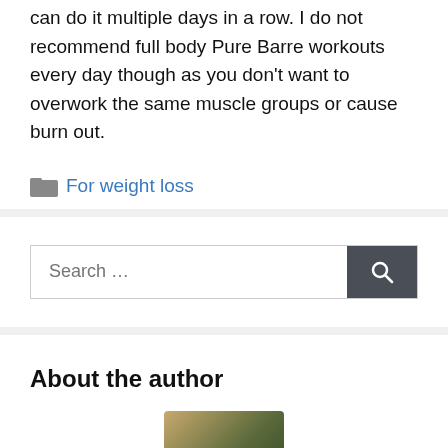can do it multiple days in a row. I do not recommend full body Pure Barre workouts every day though as you don't want to overwork the same muscle groups or cause burn out.
For weight loss
About the author
[Figure (photo): Author photo thumbnail at bottom of page]